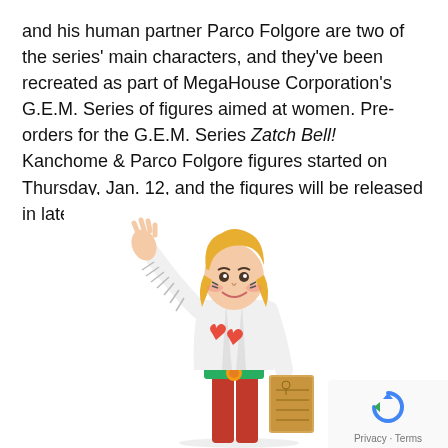and his human partner Parco Folgore are two of the series' main characters, and they've been recreated as part of MegaHouse Corporation's G.E.M. Series of figures aimed at women. Pre-orders for the G.E.M. Series Zatch Bell! Kanchome & Parco Folgore figures started on Thursday, Jan. 12, and the figures will be released in late June.
[Figure (photo): A collectible figure of Parco Folgore from Zatch Bell!, depicted with one arm raised, wearing a white jacket with fringe, red pants, a decorative belt, and holding what appears to be a notebook or book. The figure has blonde hair and heart-shaped decorations on the jacket.]